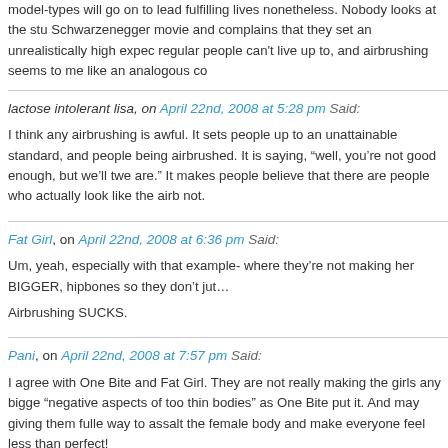model-types will go on to lead fulfilling lives nonetheless. Nobody looks at the stu Schwarzenegger movie and complains that they set an unrealistically high expec regular people can't live up to, and airbrushing seems to me like an analogous co
lactose intolerant lisa, on April 22nd, 2008 at 5:28 pm Said:
I think any airbrushing is awful. It sets people up to an unattainable standard, and people being airbrushed. It is saying, "well, you're not good enough, but we'll twe are." It makes people believe that there are people who actually look like the airb not.
Fat Girl, on April 22nd, 2008 at 6:36 pm Said:
Um, yeah, especially with that example- where they're not making her BIGGER, hipbones so they don't jut…
Airbrushing SUCKS.
Pani, on April 22nd, 2008 at 7:57 pm Said:
I agree with One Bite and Fat Girl. They are not really making the girls any bigge "negative aspects of too thin bodies" as One Bite put it. And may giving them fulle way to assalt the female body and make everyone feel less than perfect!